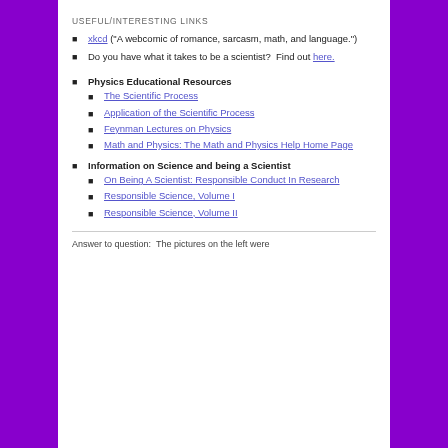USEFUL/INTERESTING LINKS
xkcd ("A webcomic of romance, sarcasm, math, and language.")
Do you have what it takes to be a scientist?  Find out here.
Physics Educational Resources
The Scientific Process
Application of the Scientific Process
Feynman Lectures on Physics
Math and Physics: The Math and Physics Help Home Page
Information on Science and being a Scientist
On Being A Scientist: Responsible Conduct In Research
Responsible Science, Volume I
Responsible Science, Volume II
Answer to question:  The pictures on the left were